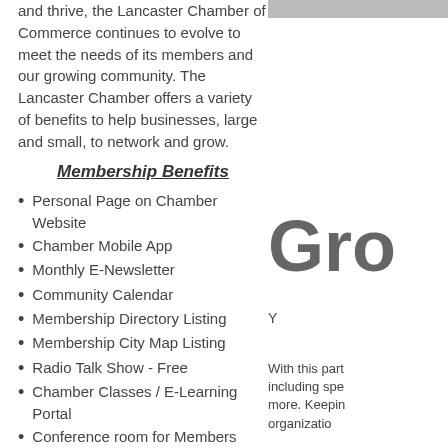and thrive, the Lancaster Chamber of Commerce continues to evolve to meet the needs of its members and our growing community. The Lancaster Chamber offers a variety of benefits to help businesses, large and small, to network and grow.
Membership Benefits
Personal Page on Chamber Website
Chamber Mobile App
Monthly E-Newsletter
Community Calendar
Membership Directory Listing
Membership City Map Listing
Radio Talk Show - Free
Chamber Classes / E-Learning Portal
Conference room for Members
Social Media Marketing
Endless Networking Opportunites
Grand Openings/Ribbon Cuttings
Monthly Events
Membership Luncheon